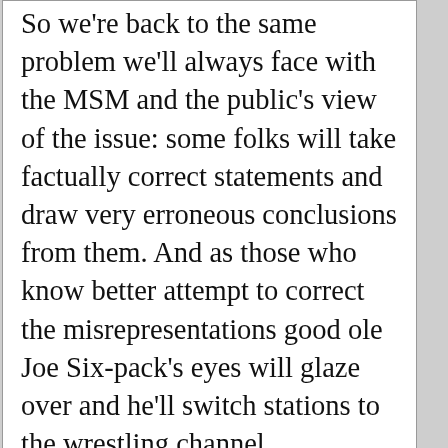So we're back to the same problem we'll always face with the MSM and the public's view of the issue: some folks will take factually correct statements and draw very erroneous conclusions from them. And as those who know better attempt to correct the misrepresentations good ole Joe Six-pack's eyes will glaze over and he'll switch stations to the wrestling channel.
DownSouth on August 15, 2008 - 1:37pm
Permalink | Parent | Comments top
The metaphor I once saw used here on TOD was that at one time the search was